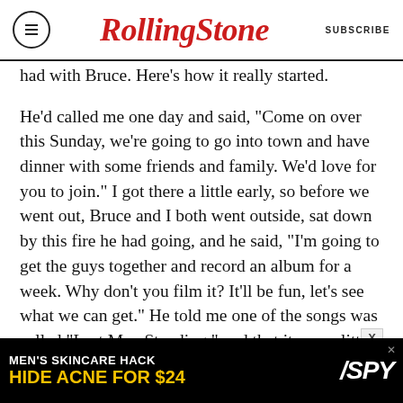RollingStone  SUBSCRIBE
had with Bruce. Here’s how it really started.

He’d called me one day and said, “Come on over this Sunday, we’re going to go into town and have dinner with some friends and family. We’d love for you to join.” I got there a little early, so before we went out, Bruce and I both went outside, sat down by this fire he had going, and he said, “I’m going to get the guys together and record an album for a week. Why don’t you film it? It’ll be fun, let’s see what we can get.” He told me one of the songs was called “Last Man Standing,” and that it was a little bit of a nod towards the Castiles. He played me some Beatles and British Invasion songs, we
[Figure (screenshot): Advertisement banner: MEN’S SKINCARE HACK / HIDE ACNE FOR $24 / SPY logo]